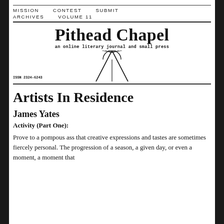MISSION   CONTEST   SUBMIT   ARCHIVES   VOLUME 11
[Figure (logo): Pithead Chapel logo with arch/pithead structure graphic, subtitle 'an online literary journal and small press', ISSN 2324-6243]
Artists In Residence
James Yates
Activity (Part One):
Prove to a pompous ass that creative expressions and tastes are sometimes fiercely personal. The progression of a season, a given day, or even a moment, a moment that